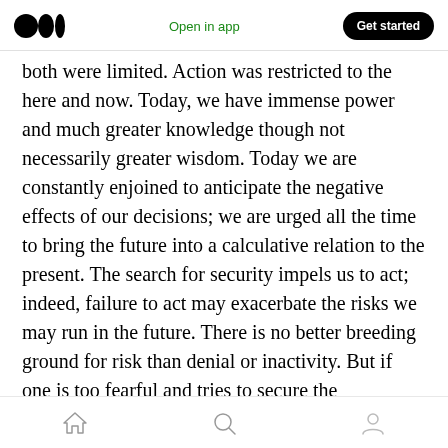Medium logo | Open in app | Get started
both were limited. Action was restricted to the here and now. Today, we have immense power and much greater knowledge though not necessarily greater wisdom. Today we are constantly enjoined to anticipate the negative effects of our decisions; we are urged all the time to bring the future into a calculative relation to the present. The search for security impels us to act; indeed, failure to act may exacerbate the risks we may run in the future. There is no better breeding ground for risk than denial or inactivity. But if one is too fearful and tries to secure the
Home | Search | Profile